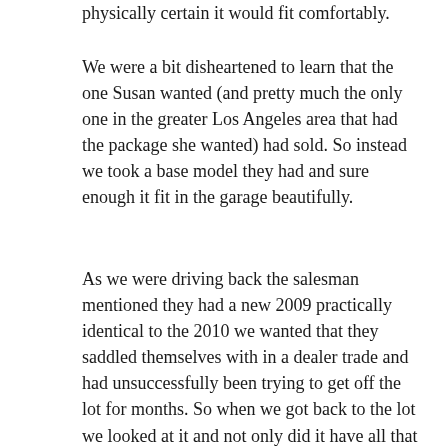physically certain it would fit comfortably.
We were a bit disheartened to learn that the one Susan wanted (and pretty much the only one in the greater Los Angeles area that had the package she wanted) had sold. So instead we took a base model they had and sure enough it fit in the garage beautifully.
As we were driving back the salesman mentioned they had a new 2009 practically identical to the 2010 we wanted that they saddled themselves with in a dealer trade and had unsuccessfully been trying to get off the lot for months. So when we got back to the lot we looked at it and not only did it have all that we wanted (and only 200 test-drive miles on the odometer), but it was in Susan’s color and at a remarkable deal not just several thousand below the